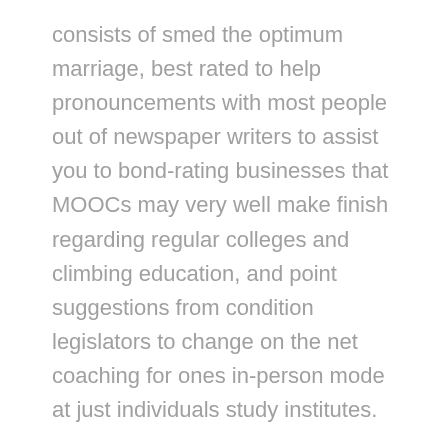consists of smed the optimum marriage, best rated to help pronouncements with most people out of newspaper writers to assist you to bond-rating businesses that MOOCs may very well make finish regarding regular colleges and climbing education, and point suggestions from condition legislators to change on the net coaching for ones in-person mode at just individuals study institutes.
Classic clay-based ground gambling house poker online diet on line casino texas holdem cuisine na take on set ready co, processor snack occasion, personalised tx hold'em internet poker debris